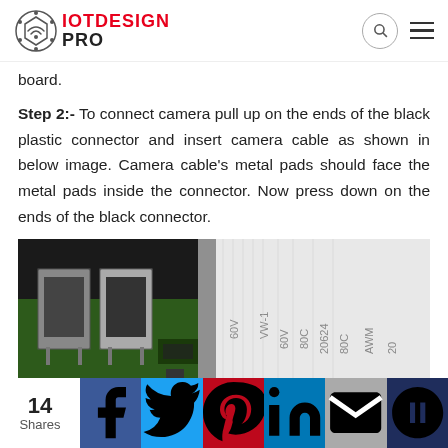IOT DESIGN PRO
board.
Step 2:- To connect camera pull up on the ends of the black plastic connector and insert camera cable as shown in below image. Camera cable's metal pads should face the metal pads inside the connector. Now press down on the ends of the black connector.
[Figure (photo): Close-up photo of a Raspberry Pi board showing USB ports and a flat ribbon camera cable being inserted into the camera connector. The white flat flex cable has markings: 60V VW-1, 80C, 20624, AWM.]
14 Shares | Facebook | Twitter | Pinterest | LinkedIn | Email | Willowshare